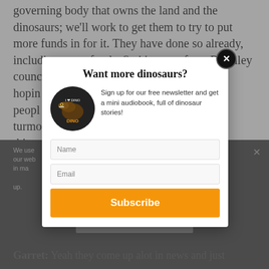governing body that owns the land and the dinosaurs; we'll work to get them to try to put more funds in for it. They have done so already, including some funds. So it's come from Bromley council and from t... hopin... ut peopl... in turmo... w things... p our focus... eep these... Then we'll b... e able t... nds
We use... nce on our web... ssed. in ma... nding up.
Ok
Garret: Yeah they come up alot in news and just
[Figure (screenshot): Newsletter signup modal dialog with title 'Want more dinosaurs?', dinosaur logo image, description text, Name and Email input fields, and an orange Subscribe button. Background shows dimmed webpage text content and a dark cookie consent bar at the bottom.]
Want more dinosaurs?
Sign up for our free newsletter and get a mini audiobook, full of dinosaur stories!
Name
Email
Subscribe